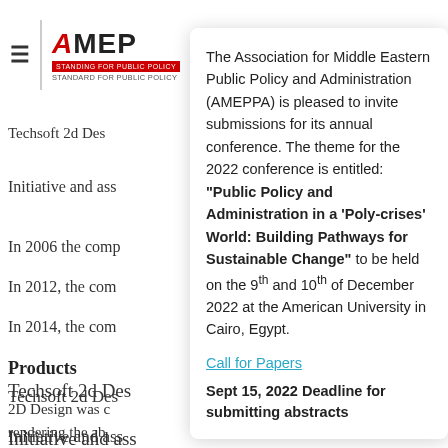AMEPPA — Association for Middle Eastern Public Policy and Administration
Techsoft 2d Des
Initiative and ass
In 2006 the comp
In 2012, the com
In 2014, the com
Products
2D Design was c rendering the ab extended to be used for creating a wide range of
The Association for Middle Eastern Public Policy and Administration (AMEPPA) is pleased to invite submissions for its annual conference. The theme for the 2022 conference is entitled: "Public Policy and Administration in a 'Poly-crises' World: Building Pathways for Sustainable Change" to be held on the 9th and 10th of December 2022 at the American University in Cairo, Egypt.
Call for Papers
Sept 15, 2022 Deadline for submitting abstracts